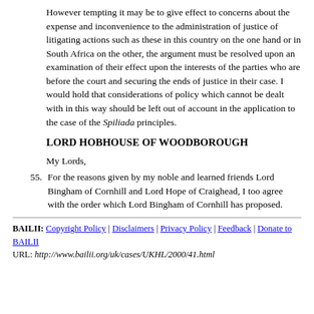However tempting it may be to give effect to concerns about the expense and inconvenience to the administration of justice of litigating actions such as these in this country on the one hand or in South Africa on the other, the argument must be resolved upon an examination of their effect upon the interests of the parties who are before the court and securing the ends of justice in their case. I would hold that considerations of policy which cannot be dealt with in this way should be left out of account in the application to the case of the Spiliada principles.
LORD HOBHOUSE OF WOODBOROUGH
My Lords,
55. For the reasons given by my noble and learned friends Lord Bingham of Cornhill and Lord Hope of Craighead, I too agree with the order which Lord Bingham of Cornhill has proposed.
BAILII: Copyright Policy | Disclaimers | Privacy Policy | Feedback | Donate to BAILII
URL: http://www.bailii.org/uk/cases/UKHL/2000/41.html